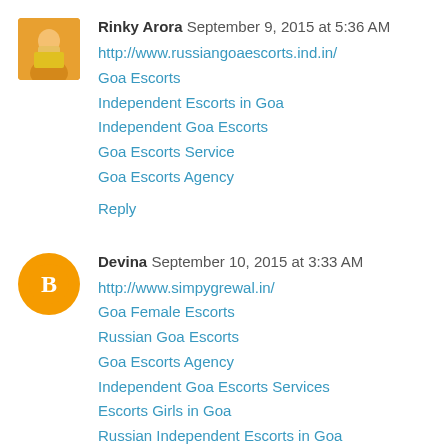[Figure (photo): Avatar photo of Rinky Arora - woman in yellow top]
Rinky Arora September 9, 2015 at 5:36 AM
http://www.russiangoaescorts.ind.in/
Goa Escorts
Independent Escorts in Goa
Independent Goa Escorts
Goa Escorts Service
Goa Escorts Agency
Reply
[Figure (logo): Blogger 'B' logo icon - orange circle with white B]
Devina September 10, 2015 at 3:33 AM
http://www.simpygrewal.in/
Goa Female Escorts
Russian Goa Escorts
Goa Escorts Agency
Independent Goa Escorts Services
Escorts Girls in Goa
Russian Independent Escorts in Goa